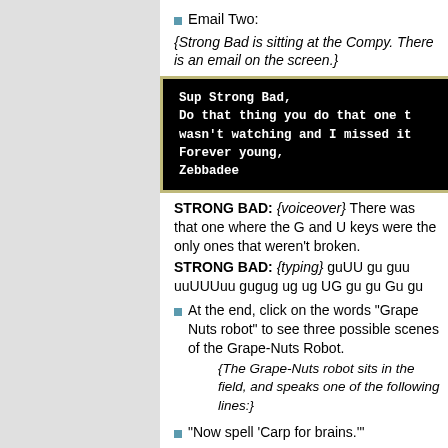Email Two:
{Strong Bad is sitting at the Compy. There is an email on the screen.}
[Figure (screenshot): Black computer screen box with olive/tan border showing email text in monospace white font: 'Sup Strong Bad, / Do that thing you do that one t[ime I] / wasn't watching and I missed it[.] / Forever young, / Zebbadee']
STRONG BAD: {voiceover} There was that one where the G and U keys were the only ones that weren't broken.
STRONG BAD: {typing} guUU gu guu uuUUUuu gugug ug ug UG gu gu Gu gu
At the end, click on the words "Grape Nuts robot" to see three possible scenes of the Grape-Nuts Robot.
{The Grape-Nuts robot sits in the field, and speaks one of the following lines:}
"Now spell 'Carp for brains.'"